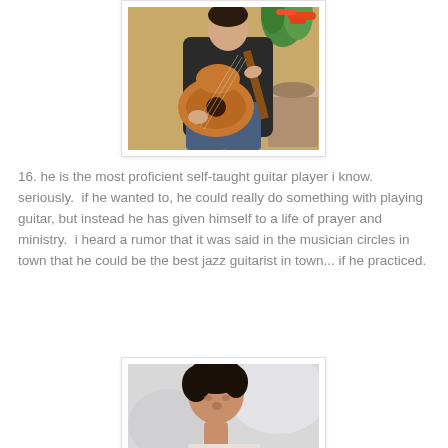[Figure (photo): Man playing an acoustic guitar, seated, wearing a dark polo shirt and jeans, with flowers and plants in the background]
16. he is the most proficient self-taught guitar player i know. seriously.  if he wanted to, he could really do something with playing guitar, but instead he has given himself to a life of prayer and ministry.  i heard a rumor that it was said in the musician circles in town that he could be the best jazz guitarist in town... if he practiced.
[Figure (photo): Close-up of a person with dark hair looking downward, light blurred background]